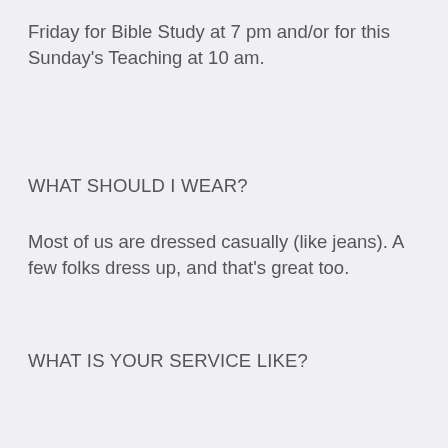Friday for Bible Study at 7 pm and/or for this Sunday's Teaching at 10 am.
WHAT SHOULD I WEAR?
Most of us are dressed casually (like jeans). A few folks dress up, and that's great too.
WHAT IS YOUR SERVICE LIKE?
We begin with singing 2 worship songs and then announcements.
We usually sing 4 more worship songs before the teaching.